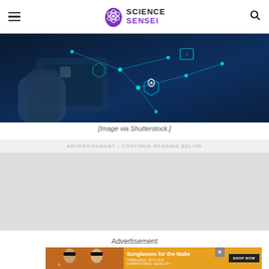Science Sensei
[Figure (photo): Hand touching a digital interface with glowing hexagons, location pin icon, lock icon, and futuristic UI elements on a dark blue background.]
[Image via Shutterstock.]
ADVERTISEMENT - CONTINUE READING BELOW
[Figure (other): Gray advertisement placeholder block]
Advertisement
[Figure (other): Advertisement banner: Sunglasses for the Make - Timeless Styles, Unmatched Quality - Shop Now]